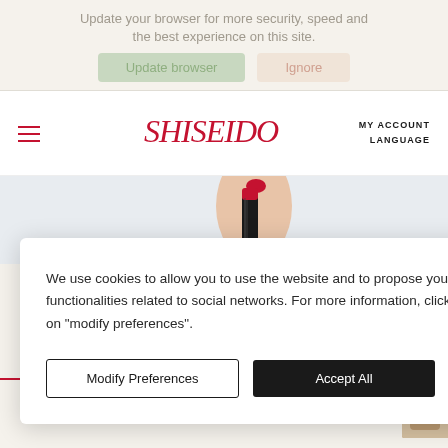Update your browser for more security, speed and the best experience on this site.
[Figure (screenshot): Browser update banner with 'Update browser' green button and 'Ignore' peach button]
[Figure (logo): Shiseido logo in red cursive script]
MY ACCOUNT
LANGUAGE
[Figure (photo): Hand holding a Shiseido lipstick product with red nails]
We use cookies to allow you to use the website and to propose you functionalities related to social networks. For more information, click on "modify preferences".
Modify Preferences
Accept All